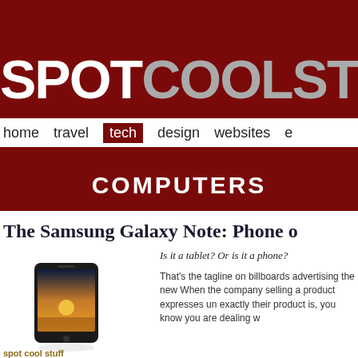SPOTCOOLST
home   travel   tech   design   websites   e
COMPUTERS
The Samsung Galaxy Note: Phone o
[Figure (photo): Samsung Galaxy Note smartphone shown at an angle with a bright screen displaying a sunset/landscape image]
Is it a tablet? Or is it a phone?
That's the tagline on billboards advertising the new When the company selling a product expresses un exactly their product is, you know you are dealing w
spot cool stuff